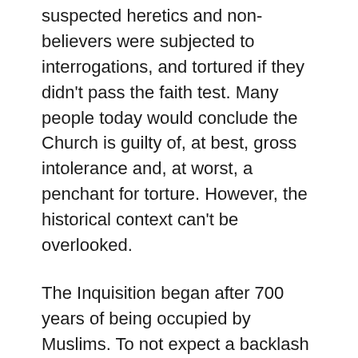suspected heretics and non-believers were subjected to interrogations, and tortured if they didn't pass the faith test. Many people today would conclude the Church is guilty of, at best, gross intolerance and, at worst, a penchant for torture. However, the historical context can't be overlooked.
The Inquisition began after 700 years of being occupied by Muslims. To not expect a backlash is counterintuitive. Columbus discovered the Americas the same year the Spaniards finally expelled the Moors. Cortez slaughtered the Aztecs in 1521 and Pizarro conquered the Incas in 1532 – just a generation later. The Inquisition grew along with the colonization of Spanish America. Lima has a Museum of the Inquisition